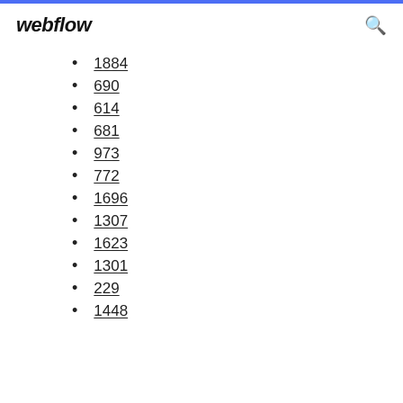webflow
1884
690
614
681
973
772
1696
1307
1623
1301
229
1448